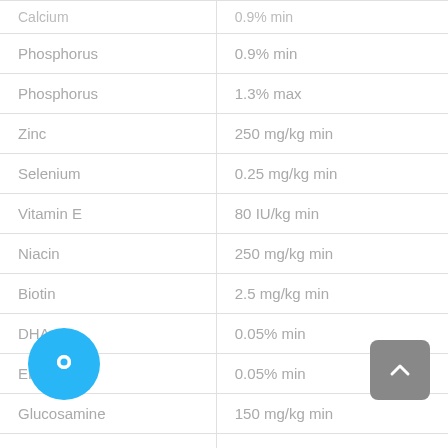| Nutrient | Amount |
| --- | --- |
| Calcium | 0.9% min (partial, cut off) |
| Phosphorus | 0.9% min |
| Phosphorus | 1.3% max |
| Zinc | 250 mg/kg min |
| Selenium | 0.25 mg/kg min |
| Vitamin E | 80 IU/kg min |
| Niacin | 250 mg/kg min |
| Biotin | 2.5 mg/kg min |
| DHA | 0.05% min |
| EPA | 0.05% min |
| Glucosamine | 150 mg/kg min |
| Chondroitin Sulfate | 350 mg/kg min |